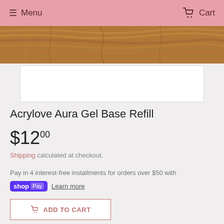Menu  Cart
[Figure (photo): Product photo showing a wood-grain texture background with a white box below]
Acrylove Aura Gel Base Refill
$12.00
Shipping calculated at checkout.
Pay in 4 interest-free installments for orders over $50 with
shop Pay  Learn more
ADD TO CART